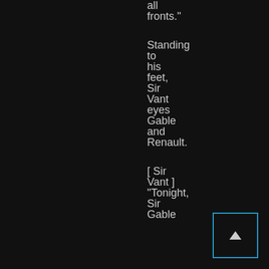all fronts." Standing to his feet, Sir Vant eyes Gable and Renault. [ Sir Vant ] "Tonight, Sir Gable
[Figure (other): Navigation button with upward-pointing triangle arrow, blue border on dark background]